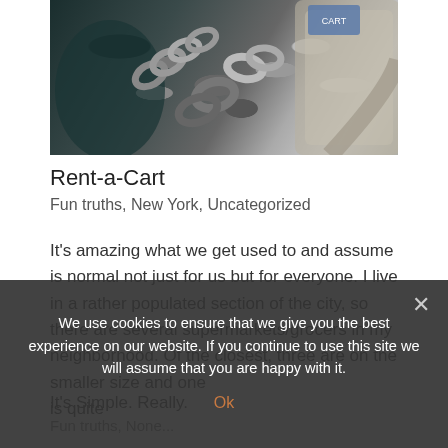[Figure (photo): Close-up photo of a metal chain and locking mechanism, likely a shopping cart rental device, with teal/dark background]
Rent-a-Cart
Fun truths, New York, Uncategorized
It's amazing what we get used to and assume is normal not just for us but for everyone. I live in a rather populated section of the city, so there are several supermarkets/grocers in my neighborhood. Of the closest, three are on the smaller size and one is quite...
It's Simple. Really.
Fun truths, None...
We use cookies to ensure that we give you the best experience on our website. If you continue to use this site we will assume that you are happy with it.